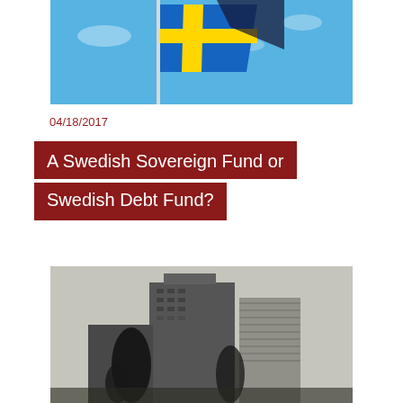[Figure (photo): Swedish flag waving against a blue sky]
04/18/2017
A Swedish Sovereign Fund or Swedish Debt Fund?
[Figure (photo): City skyline with tall office buildings and palm trees in the foreground, black and white/muted tones]